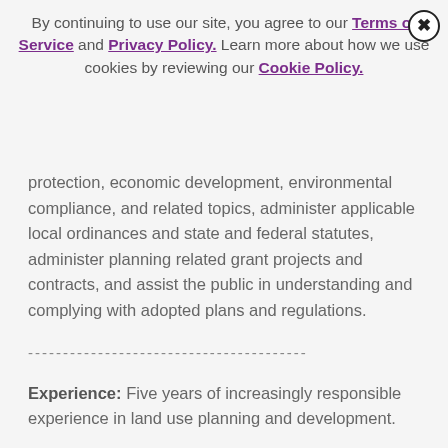By continuing to use our site, you agree to our Terms of Service and Privacy Policy. Learn more about how we use cookies by reviewing our Cookie Policy.
protection, economic development, environmental compliance, and related topics, administer applicable local ordinances and state and federal statutes, administer planning related grant projects and contracts, and assist the public in understanding and complying with adopted plans and regulations.
----------------------------------------
Experience: Five years of increasingly responsible experience in land use planning and development.
Training: Equivalent to a Bachelor's degree from an accredited college or university with major course work in urban, regional or environmental planning, or a related field.